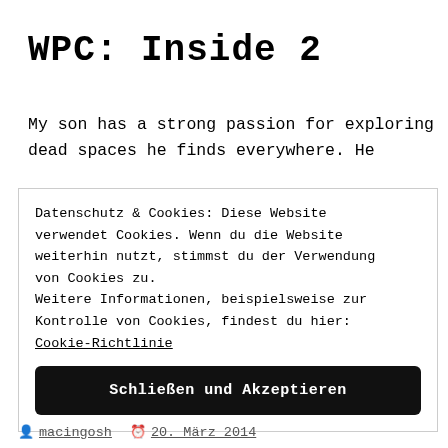WPC: Inside 2
My son has a strong passion for exploring dead spaces he finds everywhere. He
Datenschutz & Cookies: Diese Website verwendet Cookies. Wenn du die Website weiterhin nutzt, stimmst du der Verwendung von Cookies zu.
Weitere Informationen, beispielsweise zur Kontrolle von Cookies, findest du hier:
Cookie-Richtlinie
Schließen und Akzeptieren
macingosh  20. März 2014